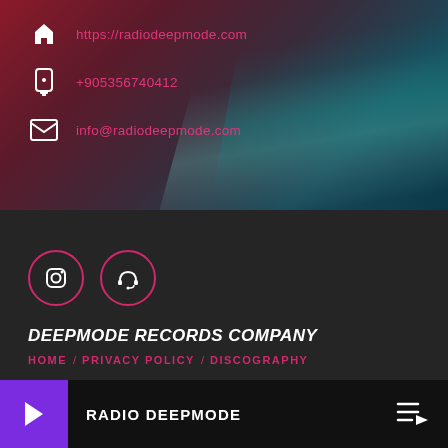https://radiodeepmode.com
+905356740412
info@radiodeepmode.com
[Figure (logo): Instagram icon in pink circle]
[Figure (logo): Headphones icon in pink circle]
DEEPMODE RECORDS COMPANY
HOME / PRIVACY POLICY / DISCOGRAPHY
RADIO DEEPMODE